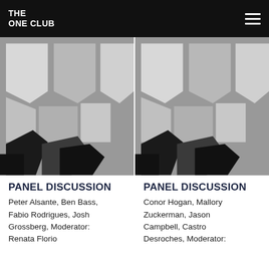THE ONE CLUB
[Figure (illustration): Decorative geometric logo pattern in grey, white, and black - left panel]
[Figure (illustration): Decorative geometric logo pattern in grey, white, and black - right panel]
PANEL DISCUSSION
Peter Alsante, Ben Bass, Fabio Rodrigues, Josh Grossberg, Moderator: Renata Florio
PANEL DISCUSSION
Conor Hogan, Mallory Zuckerman, Jason Campbell, Castro Desroches, Moderator: